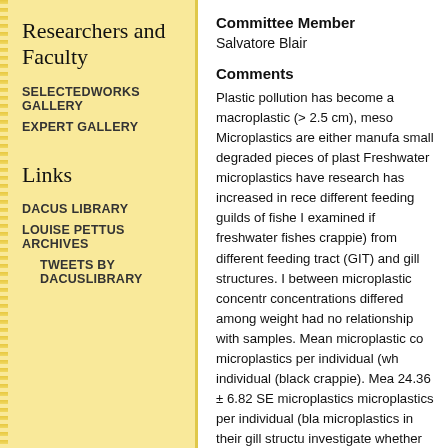Researchers and Faculty
SELECTEDWORKS GALLERY
EXPERT GALLERY
Links
DACUS LIBRARY
LOUISE PETTUS ARCHIVES
TWEETS BY DACUSLIBRARY
Committee Member
Salvatore Blair
Comments
Plastic pollution has become a macroplastic (> 2.5 cm), meso Microplastics are either manufa small degraded pieces of plast Freshwater microplastics have research has increased in rece different feeding guilds of fishe I examined if freshwater fishes crappie) from different feeding tract (GIT) and gill structures. I between microplastic concentr concentrations differed among weight had no relationship with samples. Mean microplastic co microplastics per individual (wh individual (black crappie). Mea 24.36 ± 6.82 SE microplastics microplastics per individual (bla microplastics in their gill structu investigate whether morpholog accumulation in freshwater fish